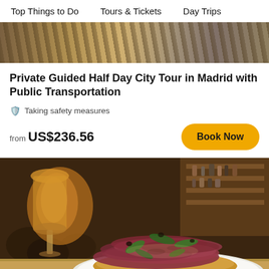Top Things to Do   Tours & Tickets   Day Trips
[Figure (photo): Top banner photo of Madrid city]
Private Guided Half Day City Tour in Madrid with Public Transportation
Taking safety measures
from US$236.56
Book Now
[Figure (photo): Close-up food photo of jamon iberico on toast with padron peppers on a white plate, with a beer glass in background, taken in a Spanish bar]